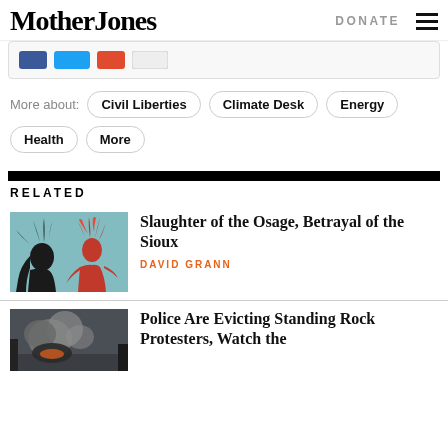Mother Jones | DONATE
[Figure (screenshot): Social sharing icons bar partially visible]
More about: Civil Liberties | Climate Desk | Energy | Health | More
RELATED
[Figure (photo): Silhouette illustration of two Native American figures, one in a headdress, against a teal background]
Slaughter of the Osage, Betrayal of the Sioux
DAVID GRANN
[Figure (photo): Photo showing police eviction at Standing Rock, smoke visible]
Police Are Evicting Standing Rock Protesters, Watch the